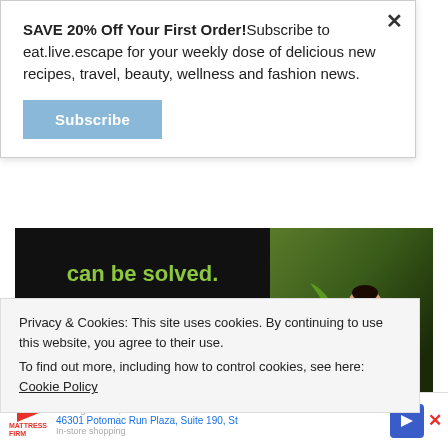SAVE 20% Off Your First Order!Subscribe to eat.live.escape for your weekly dose of delicious new recipes, travel, beauty, wellness and fashion news.
Subscribe
[Figure (illustration): Advertisement banner with dark background. Left side: green bold text 'can be solved.' with white body text 'In a world where pollution doesn't stop at borders, we can all be part of the solution.' and orange text 'JOIN US.' with a downward orange arrow. Right side: photo of a person planting a tree outdoors.]
Privacy & Cookies: This site uses cookies. By continuing to use this website, you agree to their use.
To find out more, including how to control cookies, see here: Cookie Policy
46301 Potomac Run Plaza, Suite 190, St